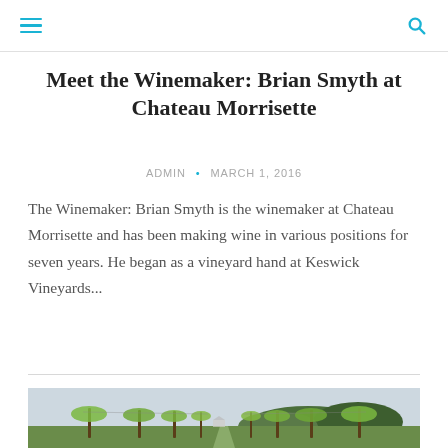Meet the Winemaker: Brian Smyth at Chateau Morrisette
ADMIN • MARCH 1, 2016
The Winemaker: Brian Smyth is the winemaker at Chateau Morrisette and has been making wine in various positions for seven years. He began as a vineyard hand at Keswick Vineyards...
[Figure (photo): Vineyard rows with grapevines and wooden posts, green hillside and trees in background under overcast sky]